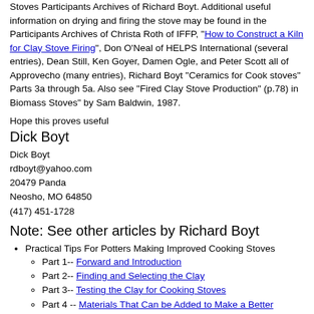Stoves Participants Archives of Richard Boyt. Additional useful information on drying and firing the stove may be found in the Participants Archives of Christa Roth of IFFP, "How to Construct a Kiln for Clay Stove Firing", Don O'Neal of HELPS International (several entries), Dean Still, Ken Goyer, Damen Ogle, and Peter Scott all of Approvecho (many entries), Richard Boyt "Ceramics for Cook stoves" Parts 3a through 5a. Also see "Fired Clay Stove Production" (p.78) in Biomass Stoves" by Sam Baldwin, 1987.
Hope this proves useful
Dick Boyt
Dick Boyt
rdboyt@yahoo.com
20479 Panda
Neosho, MO 64850
(417) 451-1728
Note: See other articles by Richard Boyt
Practical Tips For Potters Making Improved Cooking Stoves
Part 1-- Forward and Introduction
Part 2-- Finding and Selecting the Clay
Part 3-- Testing the Clay for Cooking Stoves
Part 4 -- Materials That Can be Added to Make a Better Mixture
Part 5-- Making, Manual Testing Mixture and Clay Parameters